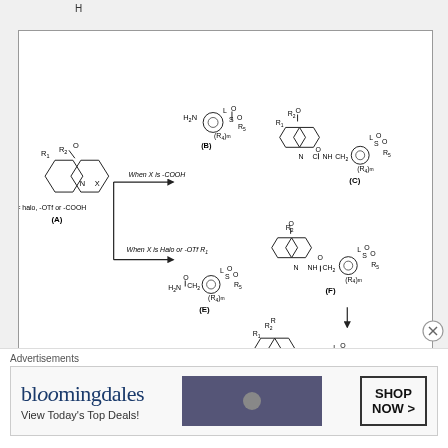[Figure (schematic): Chemical reaction scheme showing synthesis routes from compound A (tetrahydroquinolinone with X substituent where X= halo, -OTf or -COOH) to products C, F, and D via intermediates B and E. When X is -COOH, reaction with amine B gives amide product C. When X is Halo or -OTf, reaction with amide E gives product F, which is further reduced to D (R=H or OH). All products contain sulfonyl-containing aryl groups with (R4)m and R5 substituents.]
Advertisements
[Figure (other): Bloomingdale's advertisement banner with text 'bloomingdales', 'View Today's Top Deals!', and 'SHOP NOW >' button, featuring a woman with a hat.]